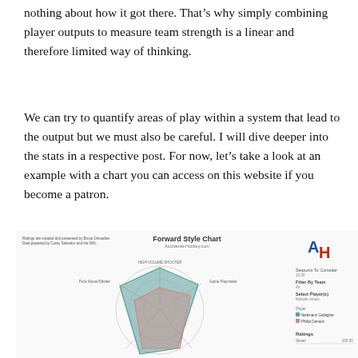nothing about how it got there. That’s why simply combining player outputs to measure team strength is a linear and therefore limited way of thinking.
We can try to quantify areas of play within a system that lead to the output but we must also be careful. I will dive deeper into the stats in a respective post. For now, let’s take a look at an example with a chart you can access on this website if you become a patron.
[Figure (other): Forward Style Chart radar/spider chart showing player style data with two overlapping polygon shapes (teal and salmon/pink) plotted on a circular radar grid. Labels include 'Forward Style Chart', 'Accidente-Hockey.com', axis labels, filter controls, player legend, and ratings. Displayed as a partial screenshot of a web application.]